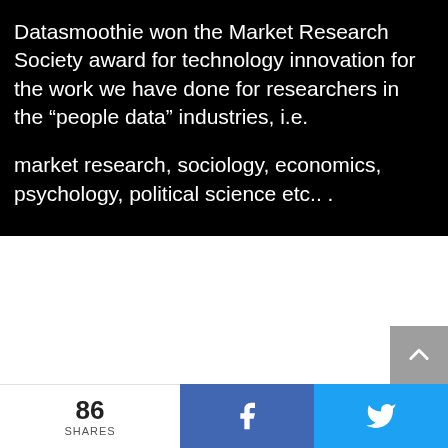Datasmoothie won the Market Research Society award for technology innovation for the work we have done for researchers in the “people data” industries, i.e.
market research, sociology, economics, psychology, political science etc.. .
86 SHARES  f  🐦